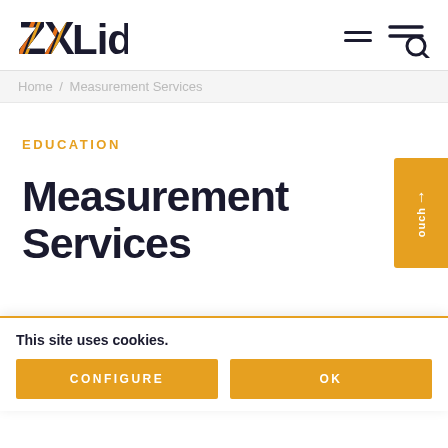[Figure (logo): ZX Lidars logo with orange/red striped Z and X letters followed by 'Lidars' in bold dark text]
Home / Measurement Services
EDUCATION
Measurement Services
This site uses cookies.
CONFIGURE
OK